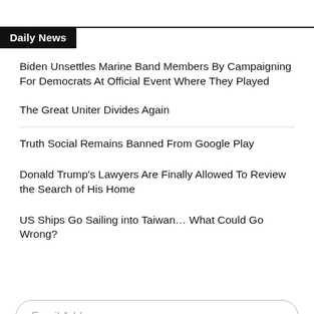Daily News
Biden Unsettles Marine Band Members By Campaigning For Democrats At Official Event Where They Played
The Great Uniter Divides Again
Truth Social Remains Banned From Google Play
Donald Trump's Lawyers Are Finally Allowed To Review the Search of His Home
US Ships Go Sailing into Taiwan… What Could Go Wrong?
Email Address